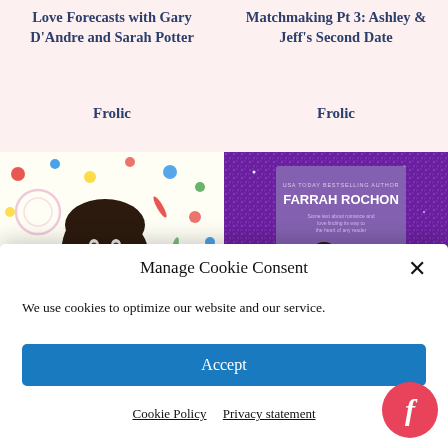Love Forecasts with Gary D'Andre and Sarah Potter
Matchmaking Pt 3: Ashley & Jeff's Second Date
Frolic
Frolic
[Figure (photo): Photo of a woman smiling with dark hair, wearing a white ruffled top, against a colorful confetti-patterned background]
[Figure (photo): Book cover of 'The Hookup' by USA Today Bestselling Author Farrah Rochon, showing two people in an embrace against a purple glittery background]
Manage Cookie Consent
We use cookies to optimize our website and our service.
Accept
Cookie Policy   Privacy statement